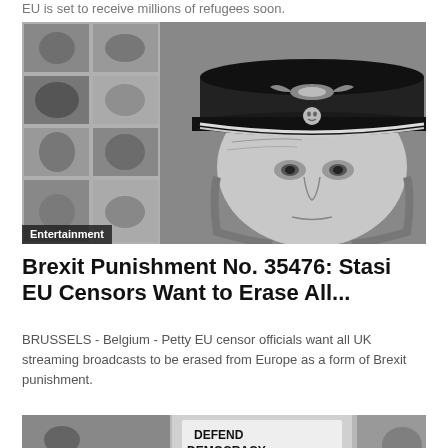EU is set to receive millions of refugees soon.
[Figure (photo): Black and white photo showing a person wearing a military-style cap with an eagle insignia and skull emblem, with blurred movie poster collage in background. Label reads 'Entertainment'.]
Brexit Punishment No. 35476: Stasi EU Censors Want to Erase All...
BRUSSELS - Belgium - Petty EU censor officials want all UK streaming broadcasts to be erased from Europe as a form of Brexit punishment.
[Figure (photo): Black and white photo showing a protest sign reading 'DEFEND DEMOCRACY STOP...']